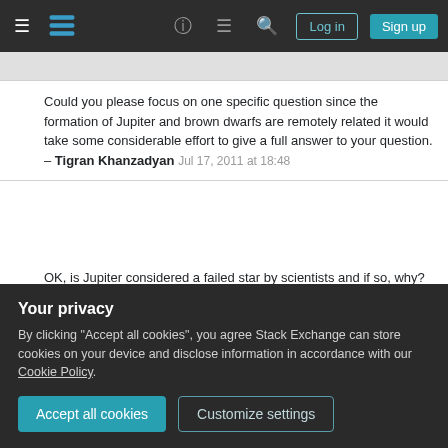Stack Exchange navigation bar with hamburger menu, logo, help, chat, search icons, Log in and Sign up buttons
Could you please focus on one specific question since the formation of Jupiter and brown dwarfs are remotely related it would take some considerable effort to give a full answer to your question. – Tigran Khanzadyan Jul 17, 2011 at 18:48
OK, is Jupiter considered a failed star by scientists and if so, why? – alexjohnj Jul 17, 2011 at 19:01
18 I consider myself to be a failed star. If only I'd been born with another billion or so yottagrams of hydrogen! sigh – Keith Thompson Apr 14, 2012 at 22:15
Your privacy
By clicking "Accept all cookies", you agree Stack Exchange can store cookies on your device and disclose information in accordance with our Cookie Policy.
Accept all cookies  Customize settings